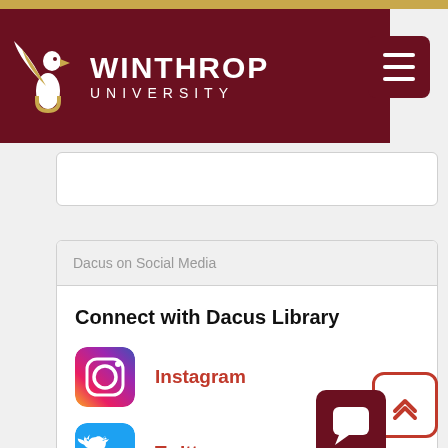Winthrop University
Dacus on Social Media
Connect with Dacus Library
Instagram
Twitter
Facebook